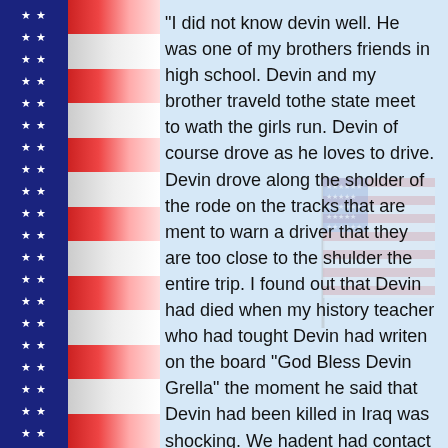[Figure (illustration): American flag stripe sidebar on the left with blue star field and red/white horizontal stripes]
"I did not know devin well. He was one of my brothers friends in high school. Devin and my brother traveld tothe state meet to wath the girls run. Devin of course drove as he loves to drive. Devin drove along the sholder of the rode on the tracks that are ment to warn a driver that they are too close to the shulder the entire trip. I found out that Devin had died when my history teacher who had tought Devin had writen on the board "God Bless Devin Grella" the moment he said that Devin had been killed in Iraq was shocking. We hadent had contact with my
[Figure (illustration): Faded/watermark image of an American flag on a pole in the lower right portion of the page]